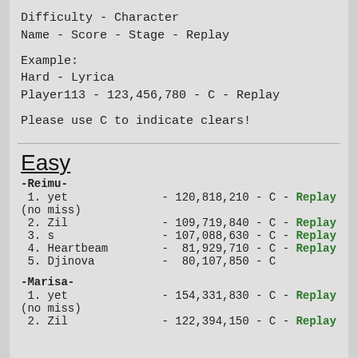Difficulty - Character
Name - Score - Stage - Replay
Example:
Hard - Lyrica
Player113 - 123,456,780 - C - Replay
Please use C to indicate clears!
Easy
-Reimu-
1. yet              - 120,818,210 - C - Replay
(no miss)
2. Zil              - 109,719,840 - C - Replay
3. s                - 107,088,630 - C - Replay
4. Heartbeam        -  81,929,710 - C - Replay
5. Djinova          -  80,107,850 - C
-Marisa-
1. yet              - 154,331,830 - C - Replay
(no miss)
2. Zil              - 122,394,150 - C - Replay